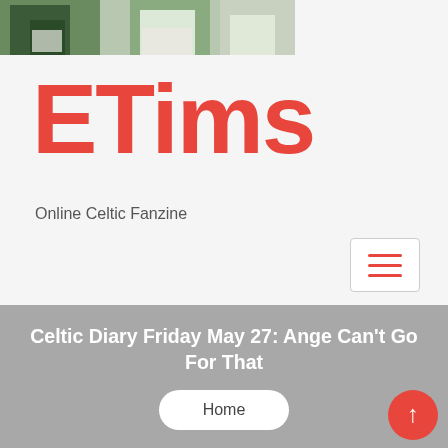[Figure (photo): Partial photo of people in green and white sports kit, cropped at top of page]
ETims
Online Celtic Fanzine
[Figure (other): Hamburger menu icon with three horizontal red lines inside a white bordered box]
Celtic Diary Friday May 27: Ange Can't Go For That
Home